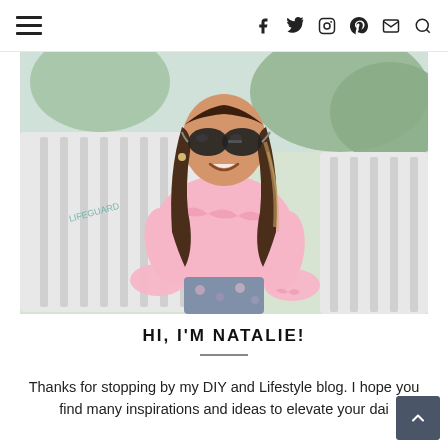Navigation header with hamburger menu and social icons: Facebook, Twitter, Instagram, Pinterest, Email, Search
[Figure (photo): Young woman with long wavy hair and sunglasses, wearing a pink ruffled blouse, sitting on a white outdoor bench, smiling. Background shows greenery.]
HI, I'M NATALIE!
Thanks for stopping by my DIY and Lifestyle blog. I hope you find many inspirations and ideas to elevate your dai